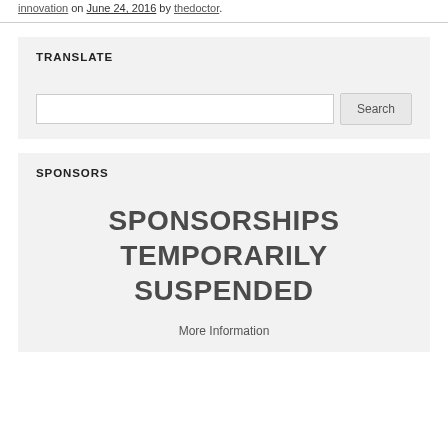innovation on June 24, 2016 by thedoctor.
TRANSLATE
Search
SPONSORS
SPONSORSHIPS TEMPORARILY SUSPENDED
More Information